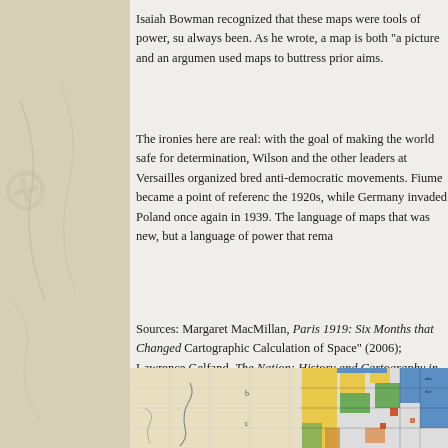Isaiah Bowman recognized that these maps were tools of power, su always been. As he wrote, a map is both "a picture and an argumen used maps to buttress prior aims.
The ironies here are real: with the goal of making the world safe for determination, Wilson and the other leaders at Versailles organized bred anti-democratic movements. Fiume became a point of referenc the 1920s, while Germany invaded Poland once again in 1939. The language of maps that was new, but a language of power that rema
Sources: Margaret MacMillan, Paris 1919: Six Months that Changed Cartographic Calculation of Space" (2006); Lawrence Gelfand, The Nation: History and Cartography in Nineteenth Century America (20 Versailles" (2016).
[Figure (map): Partial view of a historical cartographic map showing terrain with colored regions in yellows, blues, greens, and reds on the right side, and lighter outlined areas on the left.]